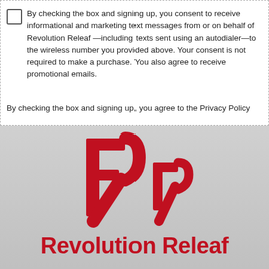By checking the box and signing up, you consent to receive informational and marketing text messages from or on behalf of Revolution Releaf —including texts sent using an autodialer—to the wireless number you provided above. Your consent is not required to make a purchase. You also agree to receive promotional emails.
By checking the box and signing up, you agree to the Privacy Policy
[Figure (logo): Revolution Releaf logo: two mirrored red letter R shapes]
Revolution Releaf
Are you over 21 years of age?
Yes   No